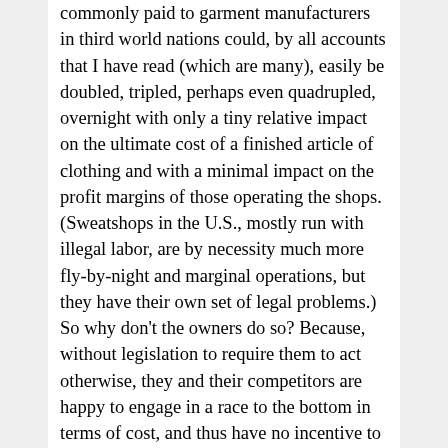commonly paid to garment manufacturers in third world nations could, by all accounts that I have read (which are many), easily be doubled, tripled, perhaps even quadrupled, overnight with only a tiny relative impact on the ultimate cost of a finished article of clothing and with a minimal impact on the profit margins of those operating the shops. (Sweatshops in the U.S., mostly run with illegal labor, are by necessity much more fly-by-night and marginal operations, but they have their own set of legal problems.) So why don't the owners do so? Because, without legislation to require them to act otherwise, they and their competitors are happy to engage in a race to the bottom in terms of cost, and thus have no incentive to pay workers any more than they absolutely have to (in other words, the same reason that 19th-century industrialists so willingly exploited children for labor in their